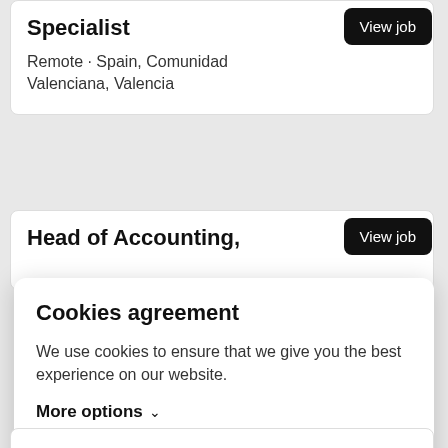Specialist
Remote · Spain, Comunidad Valenciana, Valencia
Head of Accounting,
Cookies agreement
We use cookies to ensure that we give you the best experience on our website.
More options ∨
Agree to necessary
Agree to all